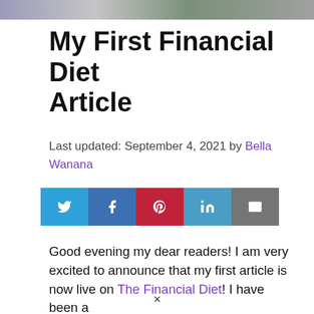[Figure (photo): Header image showing a profile icon and a photo banner at the top of the page]
My First Financial Diet Article
Last updated: September 4, 2021 by Bella Wanana
[Figure (infographic): Social share buttons row: Twitter (blue), Facebook (blue), Pinterest (red), LinkedIn (blue), Email (gray)]
Good evening my dear readers! I am very excited to announce that my first article is now live on The Financial Diet! I have been a